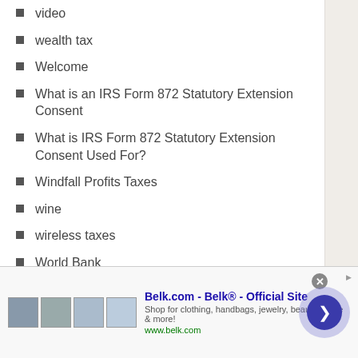video
wealth tax
Welcome
What is an IRS Form 872 Statutory Extension Consent
What is IRS Form 872 Statutory Extension Consent Used For?
Windfall Profits Taxes
wine
wireless taxes
World Bank
worldwide system
كارتيل البنوك في تونس: أثرياء الحرب في زمن المؤسس
[Figure (infographic): Advertisement banner for Belk.com - Belk® - Official Site. Shows product images, ad title, description 'Shop for clothing, handbags, jewelry, beauty, home & more!', URL www.belk.com, close button, and navigation arrow.]